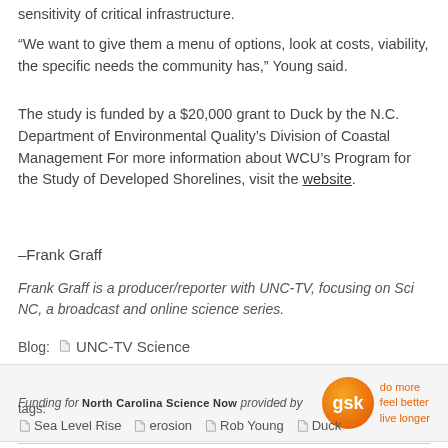sensitivity of critical infrastructure.
“We want to give them a menu of options, look at costs, viability, the specific needs the community has,” Young said.
The study is funded by a $20,000 grant to Duck by the N.C. Department of Environmental Quality’s Division of Coastal Management For more information about WCU’s Program for the Study of Developed Shorelines, visit the website.
–Frank Graff
Frank Graff is a producer/reporter with UNC-TV, focusing on Sci NC, a broadcast and online science series.
Blog: 📎 UNC-TV Science
[Figure (logo): GSK logo with orange rounded rectangle and tagline: do more feel better live longer]
Funding for North Carolina Science Now provided by
tags: Sea Level Rise  erosion  Rob Young  Duck